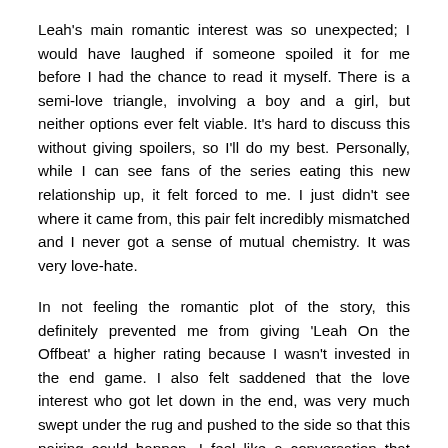Leah's main romantic interest was so unexpected; I would have laughed if someone spoiled it for me before I had the chance to read it myself. There is a semi-love triangle, involving a boy and a girl, but neither options ever felt viable. It's hard to discuss this without giving spoilers, so I'll do my best. Personally, while I can see fans of the series eating this new relationship up, it felt forced to me. I just didn't see where it came from, this pair felt incredibly mismatched and I never got a sense of mutual chemistry. It was very love-hate.
In not feeling the romantic plot of the story, this definitely prevented me from giving 'Leah On the Offbeat' a higher rating because I wasn't invested in the end game. I also felt saddened that the love interest who got let down in the end, was very much swept under the rug and pushed to the side so that this pairing could happen. I feel like a conversation that should have happened, didn't happen.
Overall, I still felt engaged when reading 'Leah On the Offbeat' and was more importantly, curious to see what would happen